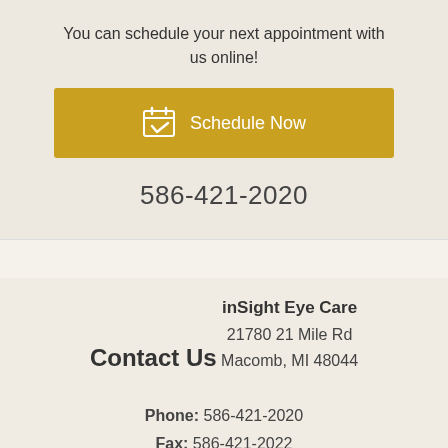You can schedule your next appointment with us online!
[Figure (other): Golden 'Schedule Now' button with calendar icon]
586-421-2020
Contact Us
inSight Eye Care
21780 21 Mile Rd
Macomb, MI 48044
Phone: 586-421-2020
Fax: 586-421-2022
[Figure (other): Partial golden button at bottom]